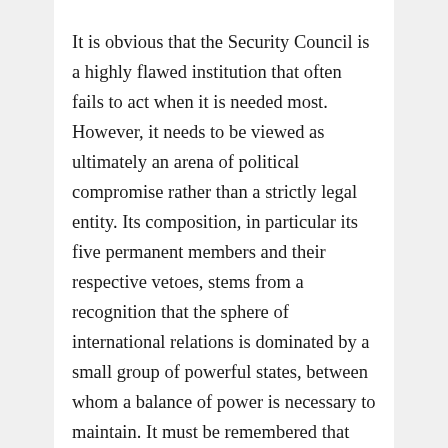It is obvious that the Security Council is a highly flawed institution that often fails to act when it is needed most. However, it needs to be viewed as ultimately an arena of political compromise rather than a strictly legal entity. Its composition, in particular its five permanent members and their respective vetoes, stems from a recognition that the sphere of international relations is dominated by a small group of powerful states, between whom a balance of power is necessary to maintain. It must be remembered that the Council's primary mandate is the maintenance of peace rather than the protection of human rights. In this rarefied air of power politics, international law acts as a language of negotiation, a delineation of what is permissible and desirable. It seeks to map the progression of international consensus with regards to the